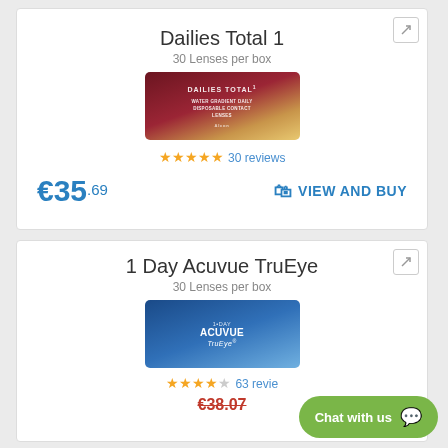Dailies Total 1
30 Lenses per box
[Figure (photo): Dailies Total 1 contact lens box product image — dark red/maroon packaging with gold stripe]
★★★★★ 30 reviews
€35.69
VIEW AND BUY
1 Day Acuvue TruEye
30 Lenses per box
[Figure (photo): 1 Day Acuvue TruEye contact lens box product image — blue packaging]
★★★★☆ 63 reviews
€38.07 (struck through)
Chat with us